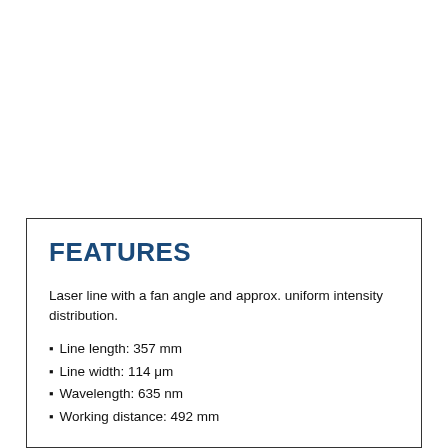FEATURES
Laser line with a fan angle and approx. uniform intensity distribution.
Line length: 357 mm
Line width: 114 μm
Wavelength: 635 nm
Working distance: 492 mm